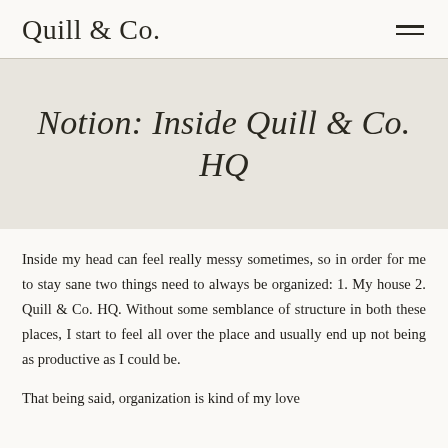Quill & Co.
Notion: Inside Quill & Co. HQ
Inside my head can feel really messy sometimes, so in order for me to stay sane two things need to always be organized: 1. My house 2. Quill & Co. HQ. Without some semblance of structure in both these places, I start to feel all over the place and usually end up not being as productive as I could be.
That being said, organization is kind of my love